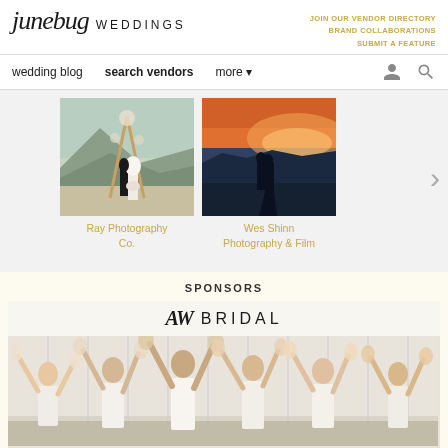junebug WEDDINGS
JOIN OUR VENDOR DIRECTORY
BRAND COLLABORATIONS
SUBMIT A FEATURE
wedding blog   search vendors   more
[Figure (photo): Wedding couple standing under triangular floral arch in mountain setting]
Ray Photography Co.
[Figure (photo): Wedding couple embracing at sunset on mountain top]
Wes Shinn Photography & Film
SPONSORS
[Figure (photo): AW Bridal sponsor advertisement showing bridesmaids in white dresses celebrating with feather pom poms]